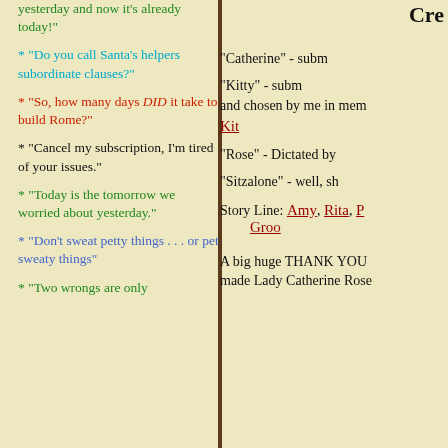yesterday and now it's already today!"
* "Do you call Santa's helpers subordinate clauses?"
* "So, how many days DID it take to build Rome?"
* "Cancel my subscription, I'm tired of your issues."
* "Today is the tomorrow we worried about yesterday."
* "Don't sweat petty things . . . or pet sweaty things"
* "Two wrongs are only
Cre
"Catherine" - subm
"Kitty" - subm and chosen by me in mem Kit
"Rose" - Dictated by
"Sitzalone" - well, sh
Story Line: Amy, Rita, P Groo
A big huge THANK YOU made Lady Catherine Rose